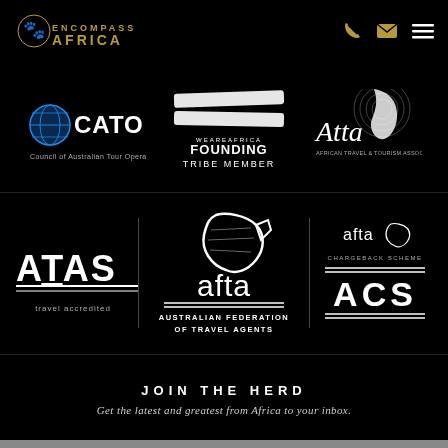Encompass Africa — navigation header with logo, phone icon, email icon, menu icon
[Figure (logo): CATO — Council of Australian Tour Operators logo with globe icon]
[Figure (logo): WeAreAfrica Founding Tribe Member logo with brush strokes]
[Figure (logo): Atta — African Travel & Tourism Association logo]
[Figure (logo): ATAS travel accredited logo]
[Figure (logo): afta — Australian Federation of Travel Agents logo]
[Figure (logo): afta ACS Chargeback Scheme logo]
JOIN THE HERD
Get the latest and greatest from Africa to your inbox.